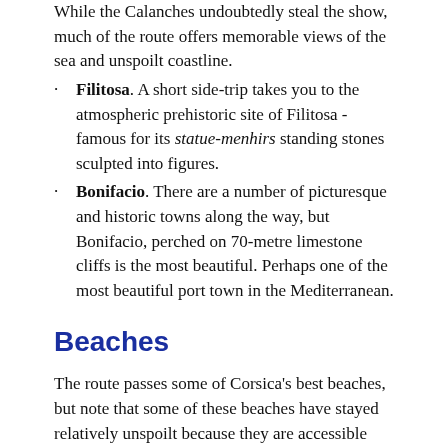While the Calanches undoubtedly steal the show, much of the route offers memorable views of the sea and unspoilt coastline.
Filitosa. A short side-trip takes you to the atmospheric prehistoric site of Filitosa - famous for its statue-menhirs standing stones sculpted into figures.
Bonifacio. There are a number of picturesque and historic towns along the way, but Bonifacio, perched on 70-metre limestone cliffs is the most beautiful. Perhaps one of the most beautiful port town in the Mediterranean.
Beaches
The route passes some of Corsica's best beaches, but note that some of these beaches have stayed relatively unspoilt because they are accessible only by rough dirt roads. This is particularly true in the north of the island; in the south-west of the island, there are some beautiful beaches that are much more easily accessible.